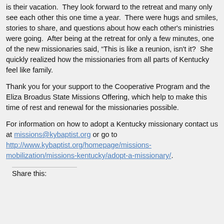is their vacation.  They look forward to the retreat and many only see each other this one time a year.  There were hugs and smiles, stories to share, and questions about how each other's ministries were going.  After being at the retreat for only a few minutes, one of the new missionaries said, “This is like a reunion, isn't it?  She quickly realized how the missionaries from all parts of Kentucky feel like family.
Thank you for your support to the Cooperative Program and the Eliza Broadus State Missions Offering, which help to make this time of rest and renewal for the missionaries possible.
For information on how to adopt a Kentucky missionary contact us at missions@kybaptist.org or go to http://www.kybaptist.org/homepage/missions-mobilization/missions-kentucky/adopt-a-missionary/.
Share this: